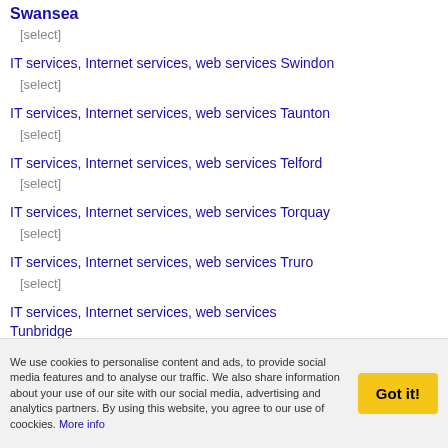Swansea
[select]
IT services, Internet services, web services Swindon
[select]
IT services, Internet services, web services Taunton
[select]
IT services, Internet services, web services Telford
[select]
IT services, Internet services, web services Torquay
[select]
IT services, Internet services, web services Truro
[select]
IT services, Internet services, web services Tunbridge
We use cookies to personalise content and ads, to provide social media features and to analyse our traffic. We also share information about your use of our site with our social media, advertising and analytics partners. By using this website, you agree to our use of coockies. More info